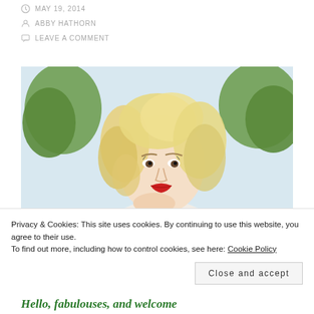MAY 19, 2014
ABBY HATHORN
LEAVE A COMMENT
[Figure (photo): Blonde woman with curly hair and red lipstick, resting chin on hand, trees and sky in background]
Privacy & Cookies: This site uses cookies. By continuing to use this website, you agree to their use.
To find out more, including how to control cookies, see here: Cookie Policy
Close and accept
Hello, fabulouses, and welcome